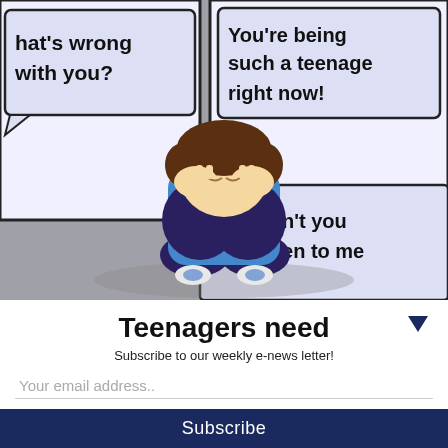[Figure (illustration): Comic-style illustration of a teenager sitting on the floor with head in hands, surrounded by speech bubbles saying 'What's wrong with you?', 'You're being such a teenage right now!', and 'Why can't you just listen to me'. Background is grey with white comic panels.]
Teenagers need
Subscribe to our weekly e-news letter!
Your email address..
Subscribe